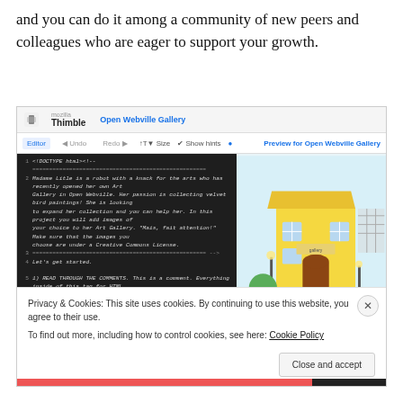and you can do it among a community of new peers and colleagues who are eager to support your growth.
[Figure (screenshot): Screenshot of Mozilla Thimble editor showing 'Open Webville Gallery' project with code editor panel on left (dark background, monospace code about Madame Litle robot and art gallery) and preview panel on right (showing colorful illustration of a gallery building). Overlaid is a cookie consent banner reading 'Privacy & Cookies: This site uses cookies. By continuing to use this website, you agree to their use. To find out more, including how to control cookies, see here: Cookie Policy' with a Close and accept button.]